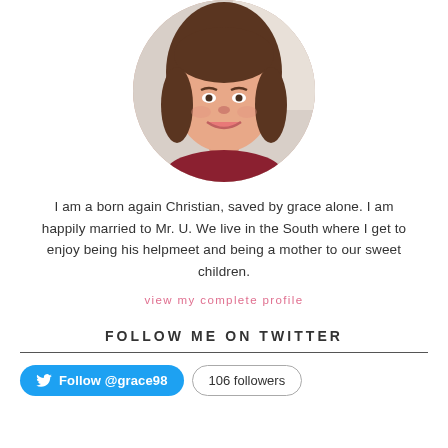[Figure (photo): Circular profile photo of a smiling woman with brown hair, wearing a dark red top]
I am a born again Christian, saved by grace alone. I am happily married to Mr. U. We live in the South where I get to enjoy being his helpmeet and being a mother to our sweet children.
view my complete profile
FOLLOW ME ON TWITTER
Follow @grace98   106 followers